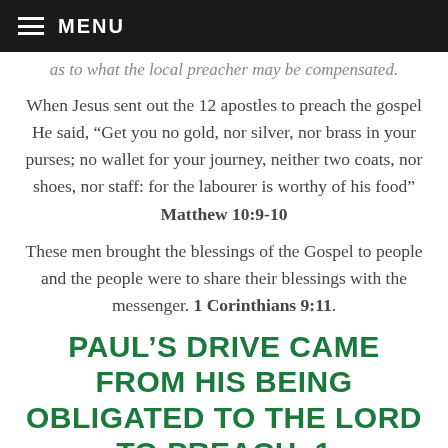MENU
as to what the local preacher may be compensated.
When Jesus sent out the 12 apostles to preach the gospel He said, “Get you no gold, nor silver, nor brass in your purses; no wallet for your journey, neither two coats, nor shoes, nor staff: for the labourer is worthy of his food” Matthew 10:9-10
These men brought the blessings of the Gospel to people and the people were to share their blessings with the messenger. 1 Corinthians 9:11.
PAUL’S DRIVE CAME FROM HIS BEING OBLIGATED TO THE LORD TO PREACH. 1